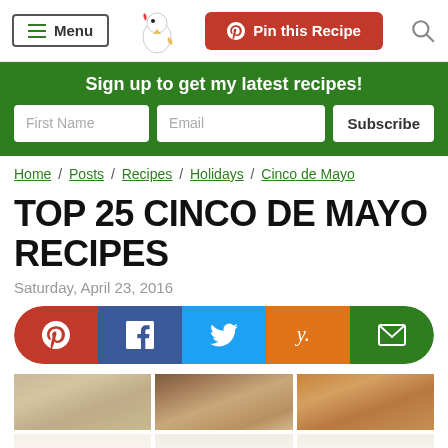Menu | Pin this Recipe
Sign up to get my latest recipes!
First Name | Email | Subscribe
Home / Posts / Recipes / Holidays / Cinco de Mayo
TOP 25 CINCO DE MAYO RECIPES
Saturday, April 23, 2016
[Figure (infographic): Social share bar with Pinterest, Facebook, Twitter, Yummly, and Email buttons]
[Figure (photo): Three food photos in a grid showing Cinco de Mayo recipes]